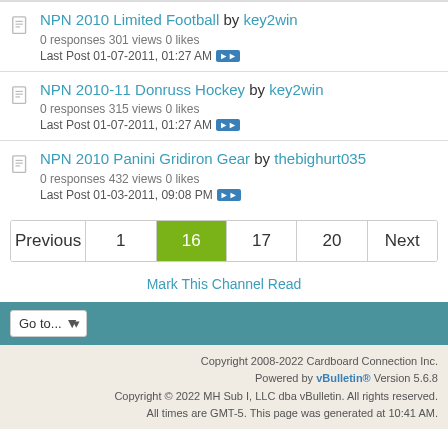NPN 2010 Limited Football by key2win
0 responses 301 views 0 likes
Last Post 01-07-2011, 01:27 AM
NPN 2010-11 Donruss Hockey by key2win
0 responses 315 views 0 likes
Last Post 01-07-2011, 01:27 AM
NPN 2010 Panini Gridiron Gear by thebighurt035
0 responses 432 views 0 likes
Last Post 01-03-2011, 09:08 PM
Previous 1 16 17 20 Next
Mark This Channel Read
Go to...
Copyright 2008-2022 Cardboard Connection Inc. Powered by vBulletin® Version 5.6.8 Copyright © 2022 MH Sub I, LLC dba vBulletin. All rights reserved. All times are GMT-5. This page was generated at 10:41 AM.